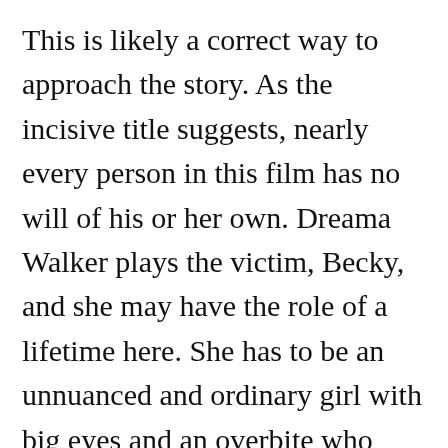This is likely a correct way to approach the story. As the incisive title suggests, nearly every person in this film has no will of his or her own. Dreama Walker plays the victim, Becky, and she may have the role of a lifetime here. She has to be an unnuanced and ordinary girl with big eyes and an overbite who never suspects she's being